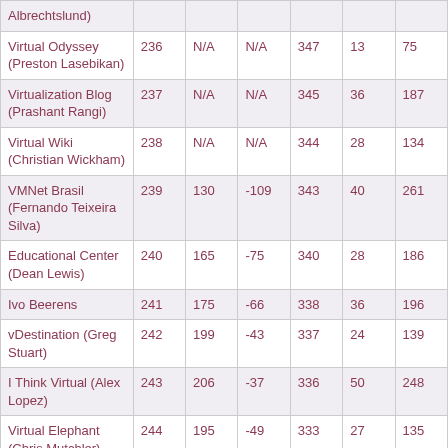| Blog (Author) | Rank | Last Rank | Change | Inbound Links | Posts | Comments |
| --- | --- | --- | --- | --- | --- | --- |
| Albrechtslund) |  |  |  |  |  |  |
| Virtual Odyssey (Preston Lasebikan) | 236 | N/A | N/A | 347 | 13 | 75 |
| Virtualization Blog (Prashant Rangi) | 237 | N/A | N/A | 345 | 36 | 187 |
| Virtual Wiki (Christian Wickham) | 238 | N/A | N/A | 344 | 28 | 134 |
| VMNet Brasil (Fernando Teixeira Silva) | 239 | 130 | -109 | 343 | 40 | 261 |
| Educational Center (Dean Lewis) | 240 | 165 | -75 | 340 | 28 | 186 |
| Ivo Beerens | 241 | 175 | -66 | 338 | 36 | 196 |
| vDestination (Greg Stuart) | 242 | 199 | -43 | 337 | 24 | 139 |
| I Think Virtual (Alex Lopez) | 243 | 206 | -37 | 336 | 50 | 248 |
| Virtual Elephant (Chris Mutchler) | 244 | 195 | -49 | 333 | 27 | 135 |
| vInception | 245 | 222 | -23 | 331 | 21 | 141 |